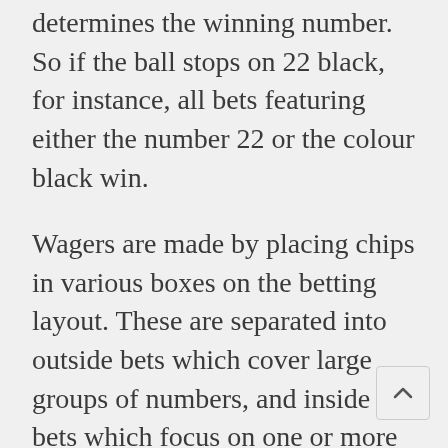determines the winning number. So if the ball stops on 22 black, for instance, all bets featuring either the number 22 or the colour black win.
Wagers are made by placing chips in various boxes on the betting layout. These are separated into outside bets which cover large groups of numbers, and inside bets which focus on one or more individual numbers. The payout odds are better on inside bets, but the outside wagers are much more likely to win.
The only key point of difference between American and European roulette is the number of pockets on the wheel. For while